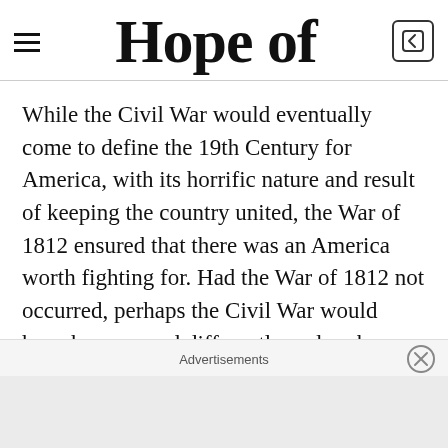Hope of
While the Civil War would eventually come to define the 19th Century for America, with its horrific nature and result of keeping the country united, the War of 1812 ensured that there was an America worth fighting for. Had the War of 1812 not occurred, perhaps the Civil War would have been waged differently and perhaps the course of American history would have had a noticeable
Advertisements